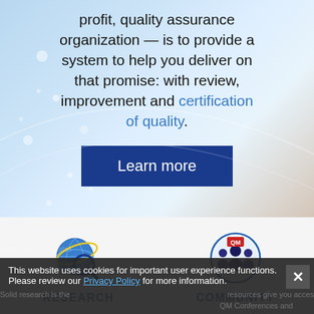profit, quality assurance organization — is to provide a system to help you deliver on that promise: with review, improvement and certification of quality.
[Figure (illustration): Blue 'Learn more' button on hero background]
[Figure (logo): Research icon: globe with magnifying glass, labeled RESEARCH]
[Figure (logo): Community icon: circular logo with group of people labeled QM, labeled COMMUNITY]
This website uses cookies for important user experience functions. Please review our Privacy Policy for more information.